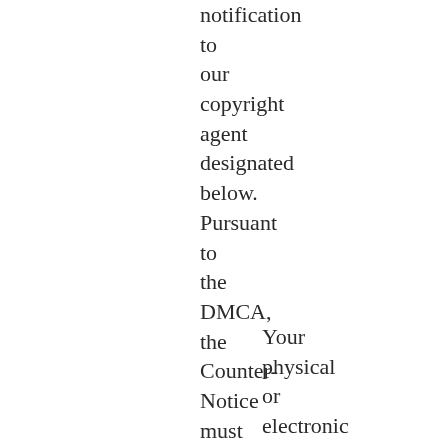notification to our copyright agent designated below. Pursuant to the DMCA, the Counter-Notice must include substantially the following:
Your physical or electronic signature. An